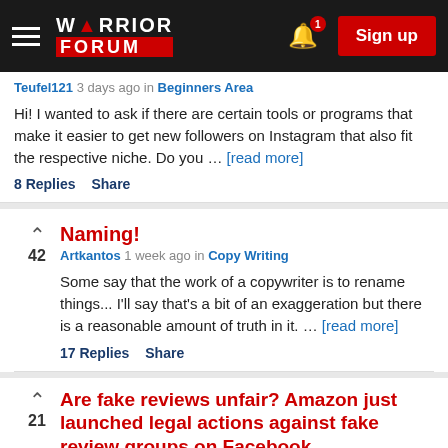Warrior Forum — Sign up
Teufel121 3 days ago in Beginners Area
Hi! I wanted to ask if there are certain tools or programs that make it easier to get new followers on Instagram that also fit the respective niche. Do you ... [read more]
8 Replies  Share
Naming!
Artkantos 1 week ago in Copy Writing
Some say that the work of a copywriter is to rename things... I'll say that's a bit of an exaggeration but there is a reasonable amount of truth in it. ... [read more]
17 Replies  Share
Are fake reviews unfair? Amazon just launched legal actions against fake review groups on Facebook
WarriorForum.com 1 week ago in eCommerce